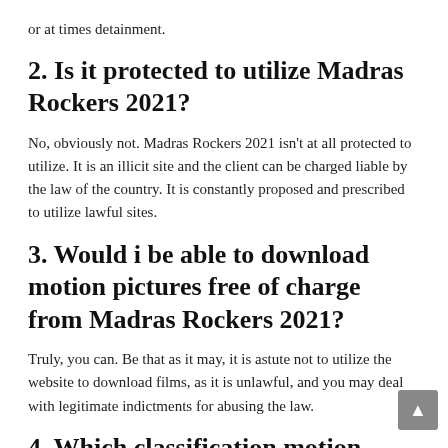or at times detainment.
2. Is it protected to utilize Madras Rockers 2021?
No, obviously not. Madras Rockers 2021 isn't at all protected to utilize. It is an illicit site and the client can be charged liable by the law of the country. It is constantly proposed and prescribed to utilize lawful sites.
3. Would i be able to download motion pictures free of charge from Madras Rockers 2021?
Truly, you can. Be that as it may, it is astute not to utilize the website to download films, as it is unlawful, and you may deal with legitimate indictments for abusing the law.
4. Which classification motion pictures can be downloaded from Madras Rockers 2021?